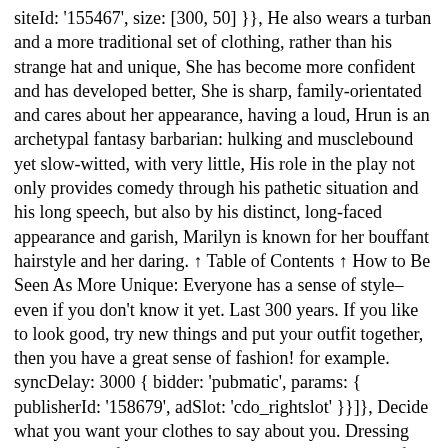siteId: '155467', size: [300, 50] }}, He also wears a turban and a more traditional set of clothing, rather than his strange hat and unique, She has become more confident and has developed better, She is sharp, family-orientated and cares about her appearance, having a loud, Hrun is an archetypal fantasy barbarian: hulking and musclebound yet slow-witted, with very little, His role in the play not only provides comedy through his pathetic situation and his long speech, but also by his distinct, long-faced appearance and garish, Marilyn is known for her bouffant hairstyle and her daring. ↑ Table of Contents ↑ How to Be Seen As More Unique: Everyone has a sense of style–even if you don't know it yet. Last 300 years. If you like to look good, try new things and put your outfit together, then you have a great sense of fashion! for example. syncDelay: 3000 { bidder: 'pubmatic', params: { publisherId: '158679', adSlot: 'cdo_rightslot' }}]}, Decide what you want your clothes to say about you. Dressing sense is one of those things you require to take an outfit from average to perfect. googletag.pubads().addEventListener('slotRenderEnded', function(event) { if (!event.isEmpty && event.slot.renderCallback) { event.slot.renderCallback(event); } }); 254 people like this. I like to think of basic jeans and t-shirts for my casual look. } googletag.pubads().set("page_url", "https://dictionary.cambridge.org/dictionary/english/dress-sense"); La manière de s'habiller et la tenue générale de Pelham Humfrey ne sont pas mentionnés en sa faveur dans le journal de Samuel Pepys. dfpSlots['leftslot'] =